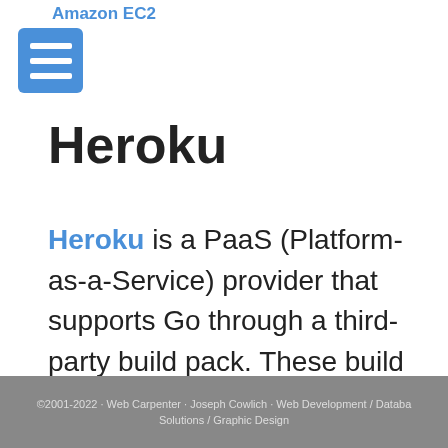Amazon EC2
[Figure (other): Hamburger menu button icon, blue square with three white horizontal lines]
Heroku
Heroku is a PaaS (Platform-as-a-Service) provider that supports Go through a third-party build pack. These build packs are a shim layer that adds language support to the core PaaS server. Heroku supports a few of their own build packs but allows for third-parties to create their own to extend the…
©2001-2022 Web Carpenter · Joseph Cowlich · Web Development / Database Solutions / Graphic Design